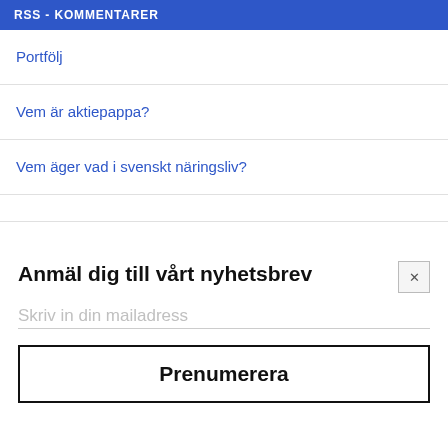RSS - KOMMENTARER
Portfölj
Vem är aktiepappa?
Vem äger vad i svenskt näringsliv?
Anmäl dig till vårt nyhetsbrev
Skriv in din mailadress
Prenumerera